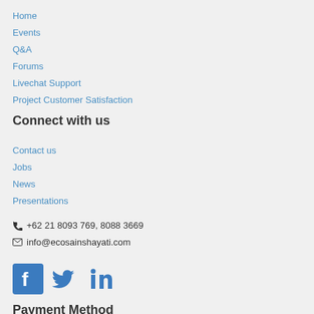Home
Events
Q&A
Forums
Livechat Support
Project Customer Satisfaction
Connect with us
Contact us
Jobs
News
Presentations
+62 21 8093 769, 8088 3669
info@ecosainshayati.com
[Figure (illustration): Social media icons: Facebook, Twitter, LinkedIn]
Payment Method
[Figure (illustration): Bank transfer / cheque payment method image]